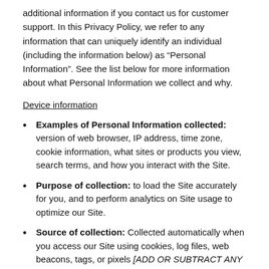additional information if you contact us for customer support. In this Privacy Policy, we refer to any information that can uniquely identify an individual (including the information below) as “Personal Information”. See the list below for more information about what Personal Information we collect and why.
Device information
Examples of Personal Information collected: version of web browser, IP address, time zone, cookie information, what sites or products you view, search terms, and how you interact with the Site.
Purpose of collection: to load the Site accurately for you, and to perform analytics on Site usage to optimize our Site.
Source of collection: Collected automatically when you access our Site using cookies, log files, web beacons, tags, or pixels [ADD OR SUBTRACT ANY OTHER TRACKING TECHNOLOGIES USED].
Disclosure for a business purpose: shared with our